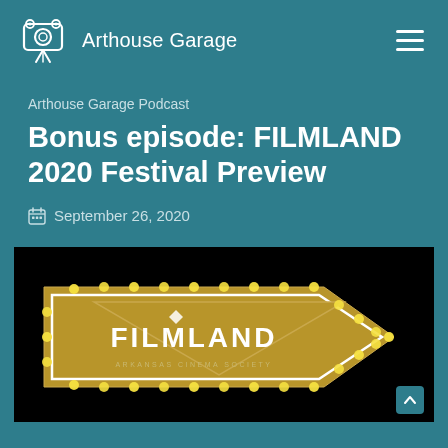Arthouse Garage
Arthouse Garage Podcast
Bonus episode: FILMLAND 2020 Festival Preview
September 26, 2020
[Figure (photo): FILMLAND Arkansas Cinema Society logo — a marquee-style arrow sign with lightbulb dots on a black background showing the FILMLAND wordmark in gold/white lettering with 'ARKANSAS CINEMA SOCIETY' beneath it]